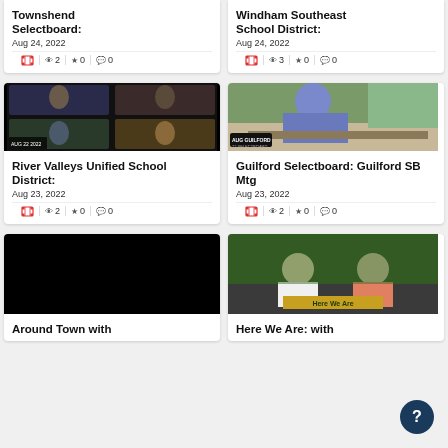[Figure (screenshot): Partial card: Townshend Selectboard, Aug 24 2022, with film/eye/star/comment icons showing 2/0/0]
[Figure (screenshot): Partial card: Windham Southeast School District, Aug 24 2022, icons showing 3/0/0]
[Figure (photo): Video thumbnail: River Valleys Unified School District virtual meeting with multiple participants in grid view]
River Valleys Unified School District:
Aug 23, 2022
[Figure (photo): Video thumbnail: Guilford Selectboard meeting, man seated at table with Guilford Selectboard sign]
Guilford Selectboard: Guilford SB Mtg
Aug 23, 2022
[Figure (photo): Video thumbnail: Around Town with - dark/black thumbnail]
[Figure (photo): Video thumbnail: Here We Are: with - two women at news desk with 'Here We Are' banner]